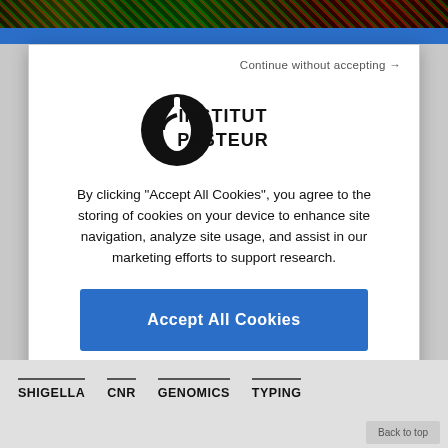[Figure (photo): Fluorescence microscopy image strip at top of page showing colored cells on dark background]
Continue without accepting →
[Figure (logo): Institut Pasteur logo — circular black logo mark with stylized figure, next to bold text reading INSTITUT PASTEUR]
By clicking "Accept All Cookies", you agree to the storing of cookies on your device to enhance site navigation, analyze site usage, and assist in our marketing efforts to support research.
Accept All Cookies
Cookies Settings
SHIGELLA
CNR
GENOMICS
TYPING